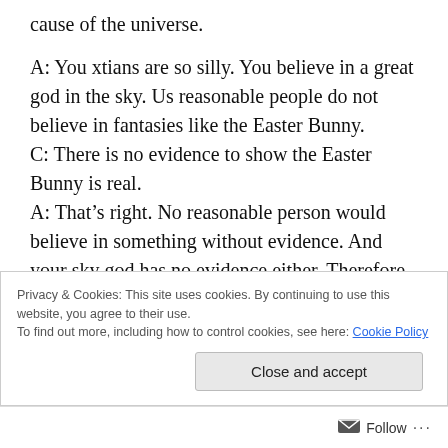cause of the universe.
A: You xtians are so silly. You believe in a great god in the sky. Us reasonable people do not believe in fantasies like the Easter Bunny.
C: There is no evidence to show the Easter Bunny is real.
A: That's right. No reasonable person would believe in something without evidence. And your sky god has no evidence either. Therefore we should believe neither. You are a foolish person.
C: The God of the Bible is reasonable and has several
Privacy & Cookies: This site uses cookies. By continuing to use this website, you agree to their use. To find out more, including how to control cookies, see here: Cookie Policy
Follow ...